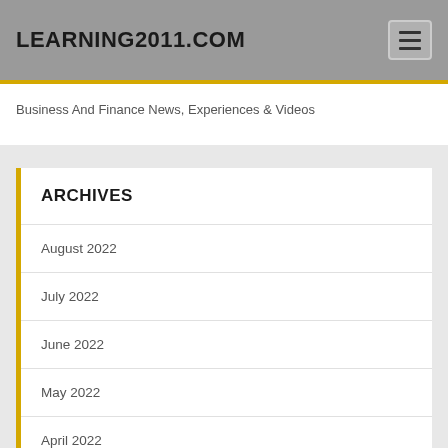LEARNING2011.COM
Business And Finance News, Experiences & Videos
ARCHIVES
August 2022
July 2022
June 2022
May 2022
April 2022
March 2022